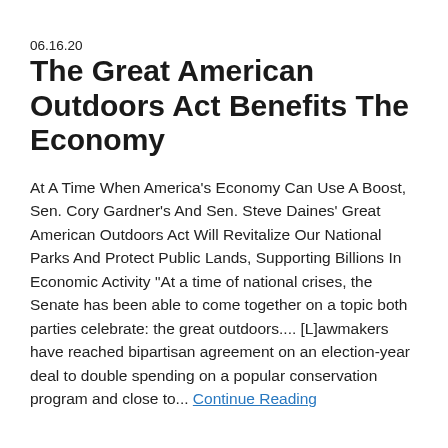06.16.20
The Great American Outdoors Act Benefits The Economy
At A Time When America's Economy Can Use A Boost, Sen. Cory Gardner's And Sen. Steve Daines' Great American Outdoors Act Will Revitalize Our National Parks And Protect Public Lands, Supporting Billions In Economic Activity "At a time of national crises, the Senate has been able to come together on a topic both parties celebrate: the great outdoors.... [L]awmakers have reached bipartisan agreement on an election-year deal to double spending on a popular conservation program and close to... Continue Reading